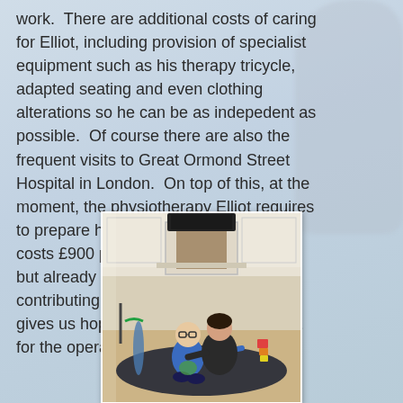work.  There are additional costs of caring for Elliot, including provision of specialist equipment such as his therapy tricycle, adapted seating and even clothing alterations so he can be as indepedent as possible.  Of course there are also the frequent visits to Great Ormond Street Hospital in London.  On top of this, at the moment, the physiotherapy Elliot requires to prepare him for the SDR operation, costs £900 per month.  It's unaffordable but already there are different people contributing and fundraising - and this gives us hope for raising the full amount for the operation.
[Figure (photo): A child in a blue top sits on a dark mat on a patterned carpet in a living room, extending one arm out. A therapist or adult in a dark top sits behind the child, supporting them. In the background is a fireplace with a mantelpiece, a TV, and various therapy and play equipment including a blue foam roller and coloured stacking cups.]